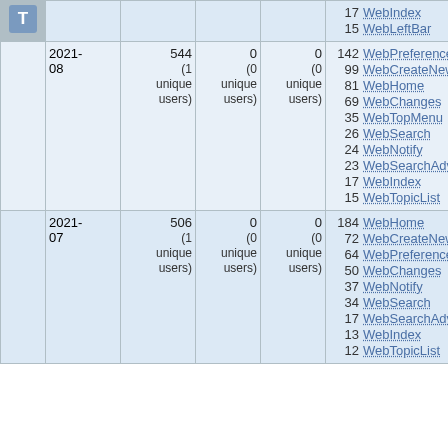|  | Month | Views | Saves | Uploads | Top Pages |
| --- | --- | --- | --- | --- | --- |
| T |  |  |  | 17 WebIndex
15 WebLeftBar |
| 2021-08 | 544 (1 unique users) | 0 (0 unique users) | 0 (0 unique users) | 142 WebPreferences
99 WebCreateNewTopic
81 WebHome
69 WebChanges
35 WebTopMenu
26 WebSearch
24 WebNotify
23 WebSearchAdvanced
17 WebIndex
15 WebTopicList |
| 2021-07 | 506 (1 unique users) | 0 (0 unique users) | 0 (0 unique users) | 184 WebHome
72 WebCreateNewTopic
64 WebPreferences
50 WebChanges
37 WebNotify
34 WebSearch
17 WebSearchAdvanced
13 WebIndex
12 WebTopicList |